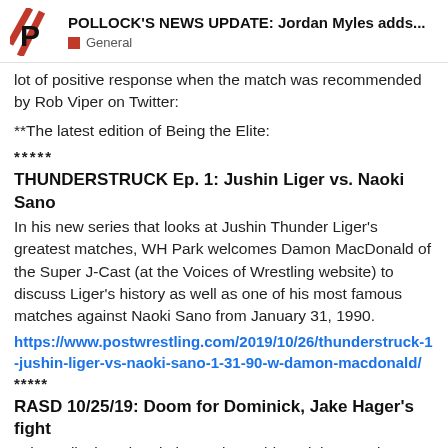POLLOCK'S NEWS UPDATE: Jordan Myles adds... | General
lot of positive response when the match was recommended by Rob Viper on Twitter:
**The latest edition of Being the Elite:
*****
THUNDERSTRUCK Ep. 1: Jushin Liger vs. Naoki Sano
In his new series that looks at Jushin Thunder Liger's greatest matches, WH Park welcomes Damon MacDonald of the Super J-Cast (at the Voices of Wrestling website) to discuss Liger's history as well as one of his most famous matches against Naoki Sano from January 31, 1990.
https://www.postwrestling.com/2019/10/26/thunderstruck-1-jushin-liger-vs-naoki-sano-1-31-90-w-damon-macdonald/
*****
RASD 10/25/19: Doom for Dominick, Jake Hager's fight
John Pollock and Wai Ting review Friday Night SmackDown on FS1 featuring a final Brock Lesnar and Cain Velasquez confrontation before Crown Jewel. Plus, the result of Jake